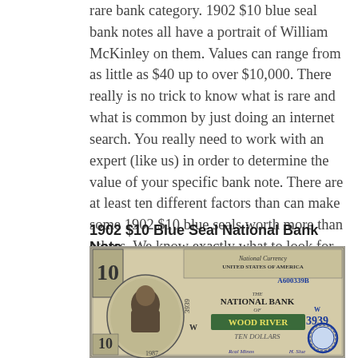rare bank category. 1902 $10 blue seal bank notes all have a portrait of William McKinley on them. Values can range from as little as $40 up to over $10,000. There really is no trick to know what is rare and what is common by just doing an internet search. You really need to work with an expert (like us) in order to determine the value of your specific bank note. There are at least ten different factors than can make some 1902 $10 blue seals worth more than others. We know exactly what to look for and we would be happy to provide a free appraisal and our best offer.
1902 $10 Blue Seal National Bank Note
[Figure (photo): Photo of a 1902 $10 Blue Seal National Bank Note from the First National Bank of Wood River, serial number A600339B, charter number 3939, with a portrait of William McKinley on the left side.]